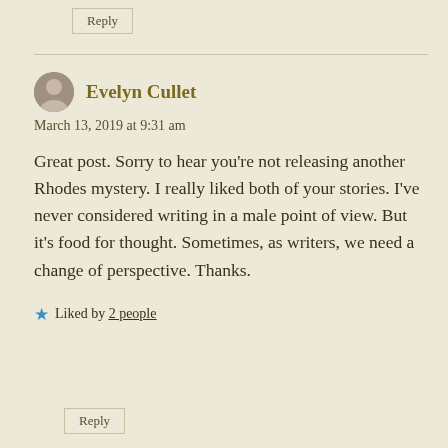Reply
Evelyn Cullet
March 13, 2019 at 9:31 am
Great post. Sorry to hear you're not releasing another Rhodes mystery. I really liked both of your stories. I've never considered writing in a male point of view. But it's food for thought. Sometimes, as writers, we need a change of perspective. Thanks.
★ Liked by 2 people
Reply